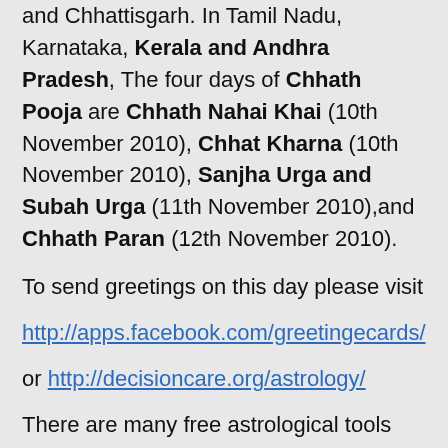and Chhattisgarh. In Tamil Nadu, Karnataka, Kerala and Andhra Pradesh, The four days of Chhath Pooja are Chhath Nahai Khai (10th November 2010), Chhat Kharna (10th November 2010), Sanjha Urga and Subah Urga (11th November 2010),and Chhath Paran (12th November 2010).
To send greetings on this day please visit
http://apps.facebook.com/greetingecards/
or http://decisioncare.org/astrology/
There are many free astrological tools and horoscopes at http://decisioncare.org/astrology/ which help analyze your own individual horoscope on a daily basis .
These free tools are:
Daily Sun Sign horoscope,